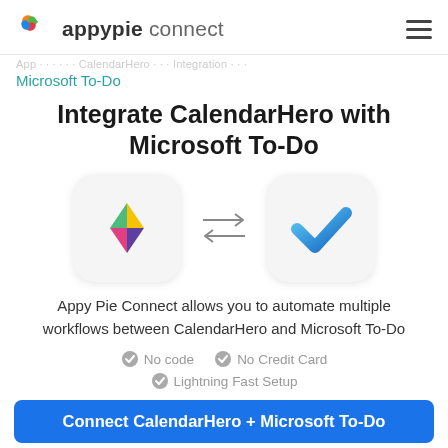appypie connect
Microsoft To-Do
Integrate CalendarHero with Microsoft To-Do
[Figure (illustration): CalendarHero app icon (colorful pinwheel) and Microsoft To-Do app icon (blue checkmark) connected by bidirectional arrows]
Appy Pie Connect allows you to automate multiple workflows between CalendarHero and Microsoft To-Do
No code   No Credit Card   Lightning Fast Setup
Connect CalendarHero + Microsoft To-Do